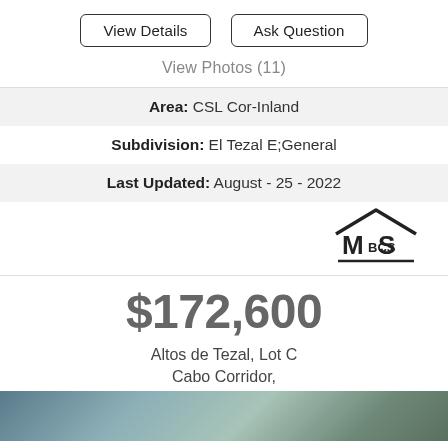View Details | Ask Question
View Photos (11)
Area: CSL Cor-Inland
Subdivision: El Tezal E;General
Last Updated: August - 25 - 2022
[Figure (logo): MLS BCS logo with house roofline icon]
$172,600
Altos de Tezal, Lot C
Cabo Corridor,
[Figure (photo): Partial view of a landscape/property photo at the bottom of the page]